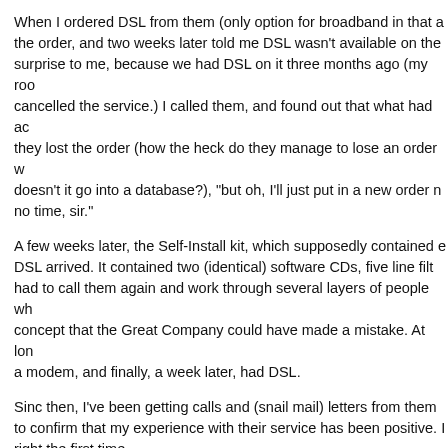When I ordered DSL from them (only option for broadband in that a the order, and two weeks later told me DSL wasn't available on the surprise to me, because we had DSL on it three months ago (my roo cancelled the service.) I called them, and found out that what had ac they lost the order (how the heck do they manage to lose an order w doesn't it go into a database?), "but oh, I'll just put in a new order n no time, sir."
A few weeks later, the Self-Install kit, which supposedly contained e DSL arrived. It contained two (identical) software CDs, five line filt had to call them again and work through several layers of people wh concept that the Great Company could have made a mistake. At lon a modem, and finally, a week later, had DSL.
Sinc then, I've been getting calls and (snail mail) letters from them to confirm that my experience with their service has been positive. I right the first time.
Kamaraju Kusumanchi Jan 28
My previous cell phone carrier was sprint, my current cell phone is that service of sprint is as worse as that of verizon.